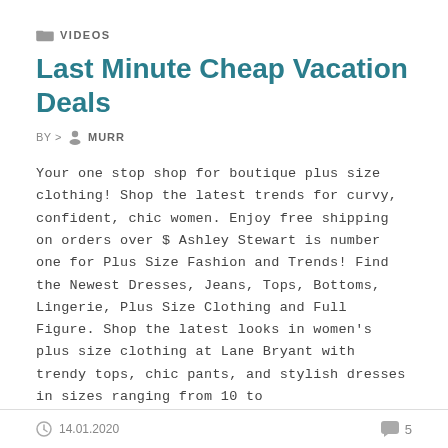VIDEOS
Last Minute Cheap Vacation Deals
BY > MURR
Your one stop shop for boutique plus size clothing! Shop the latest trends for curvy, confident, chic women. Enjoy free shipping on orders over $ Ashley Stewart is number one for Plus Size Fashion and Trends! Find the Newest Dresses, Jeans, Tops, Bottoms, Lingerie, Plus Size Clothing and Full Figure. Shop the latest looks in women's plus size clothing at Lane Bryant with trendy tops, chic pants, and stylish dresses in sizes ranging from 10 to
14.01.2020  5